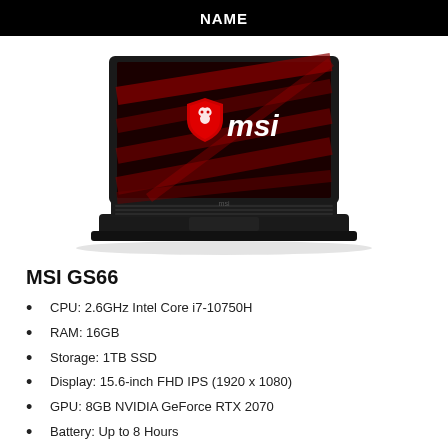NAME
[Figure (photo): MSI GS66 gaming laptop with black chassis, MSI logo on red and black screen background]
MSI GS66
CPU: 2.6GHz Intel Core i7-10750H
RAM: 16GB
Storage: 1TB SSD
Display: 15.6-inch FHD IPS (1920 x 1080)
GPU: 8GB NVIDIA GeForce RTX 2070
Battery: Up to 8 Hours